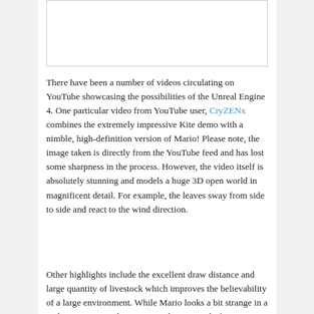[Figure (photo): Empty white image placeholder with a thin border, representing a YouTube video screenshot that has been cropped or is blank.]
There have been a number of videos circulating on YouTube showcasing the possibilities of the Unreal Engine 4. One particular video from YouTube user, CryZENx combines the extremely impressive Kite demo with a nimble, high-definition version of Mario! Please note, the image taken is directly from the YouTube feed and has lost some sharpness in the process. However, the video itself is absolutely stunning and models a huge 3D open world in magnificent detail. For example, the leaves sway from side to side and react to the wind direction.
Other highlights include the excellent draw distance and large quantity of livestock which improves the believability of a large environment. While Mario looks a bit strange in a realistic setting, it demonstrates the potential of